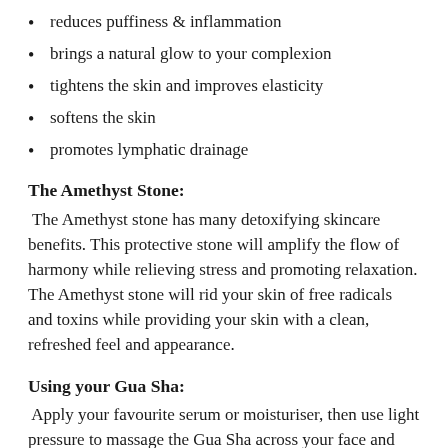reduces puffiness & inflammation
brings a natural glow to your complexion
tightens the skin and improves elasticity
softens the skin
promotes lymphatic drainage
The Amethyst Stone:
The Amethyst stone has many detoxifying skincare benefits. This protective stone will amplify the flow of harmony while relieving stress and promoting relaxation. The Amethyst stone will rid your skin of free radicals and toxins while providing your skin with a clean, refreshed feel and appearance.
Using your Gua Sha:
Apply your favourite serum or moisturiser, then use light pressure to massage the Gua Sha across your face and neck. Ensure each area is passed over 4-5 times. We